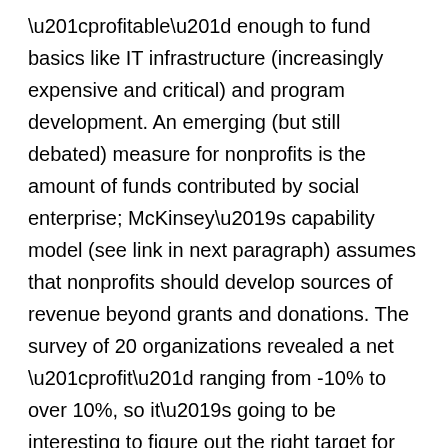“profitable” enough to fund basics like IT infrastructure (increasingly expensive and critical) and program development. An emerging (but still debated) measure for nonprofits is the amount of funds contributed by social enterprise; McKinsey’s capability model (see link in next paragraph) assumes that nonprofits should develop sources of revenue beyond grants and donations. The survey of 20 organizations revealed a net “profit” ranging from -10% to over 10%, so it’s going to be interesting to figure out the right target for this organization! (One approach would be to decide which organization they most want to be like “when they grow up.”)
Assessing capability: We identified several helpful tools to help the organization assess its strength across every aspect of its management, from the